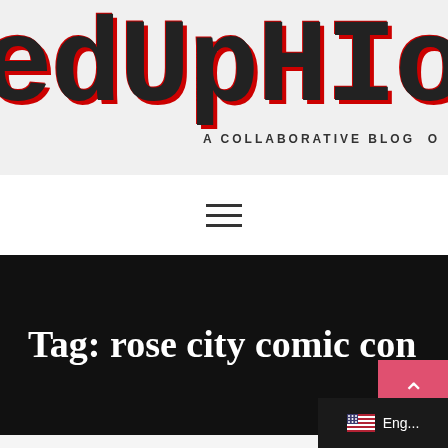[Figure (logo): Pixel-style retro logo text reading 'edUPHI' (partial, clipped) in dark/black with red shadow effect, with tagline 'A COLLABORATIVE BLOG' below]
[Figure (infographic): Hamburger menu icon with three horizontal lines]
Tag: rose city comic con
[Figure (other): Back to top button (pink/red square with upward chevron arrow) and language selector showing US flag and 'Eng...' text on dark background]